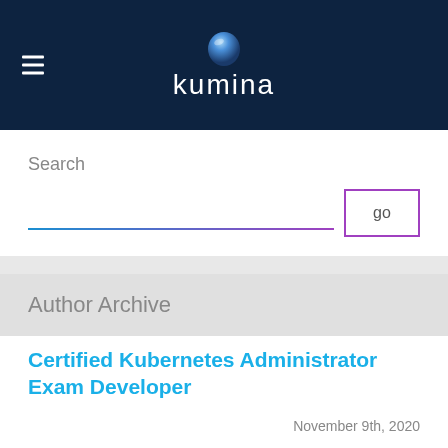kumina
Search
Author Archive
Certified Kubernetes Administrator Exam Developer
November 9th, 2020